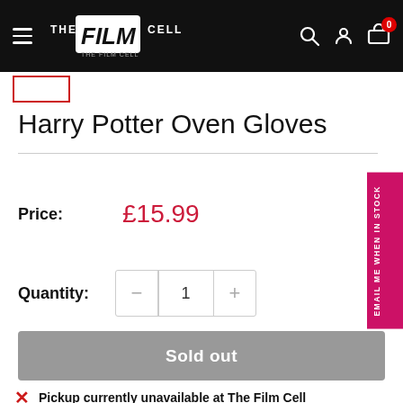The Film Cell — navigation header
Harry Potter Oven Gloves
Price: £15.99
Quantity: 1
Sold out
Pickup currently unavailable at The Film Cell